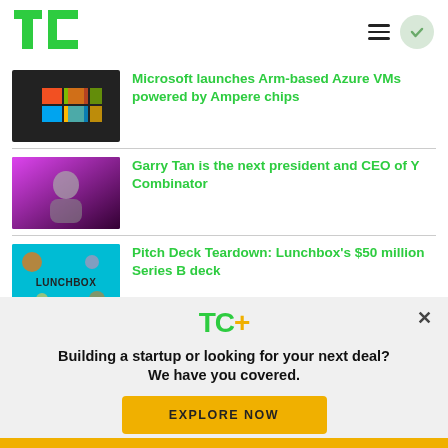TechCrunch
[Figure (screenshot): Microsoft logo on glass door]
Microsoft launches Arm-based Azure VMs powered by Ampere chips
[Figure (photo): Garry Tan speaking on stage with purple background]
Garry Tan is the next president and CEO of Y Combinator
[Figure (photo): Lunchbox branded image on teal background]
Pitch Deck Teardown: Lunchbox's $50 million Series B deck
[Figure (logo): TC+ logo and promotional overlay banner]
Building a startup or looking for your next deal? We have you covered.
EXPLORE NOW